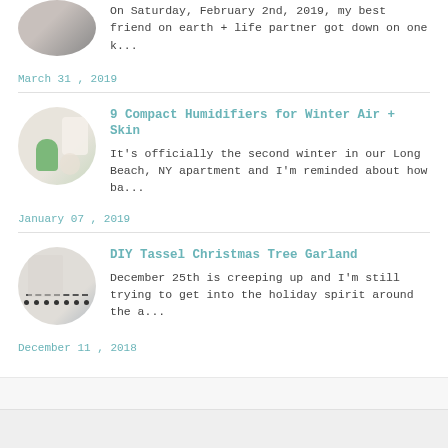[Figure (photo): Circular thumbnail photo of a person, partially visible at top]
On Saturday, February 2nd, 2019, my best friend on earth + life partner got down on one k...
March 31 , 2019
[Figure (photo): Circular thumbnail image of humidifiers and home products on a desk]
9 Compact Humidifiers for Winter Air + Skin
It's officially the second winter in our Long Beach, NY apartment and I'm reminded about how ba...
January 07 , 2019
[Figure (photo): Circular thumbnail image of a DIY tassel Christmas tree garland]
DIY Tassel Christmas Tree Garland
December 25th is creeping up and I'm still trying to get into the holiday spirit around the a...
December 11 , 2018